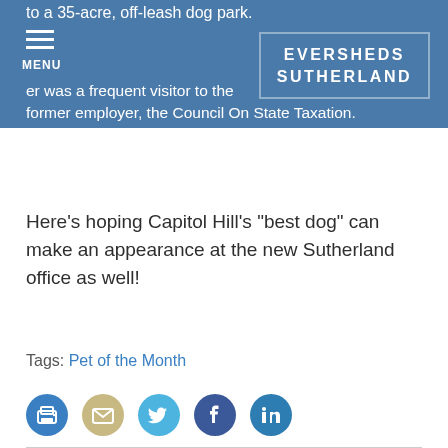EVERSHEDS SUTHERLAND
to a 35-acre, off-leash dog park.
er was a frequent visitor to the former employer, the Council On State Taxation.
Here’s hoping Capitol Hill’s “best dog” can make an appearance at the new Sutherland office as well!
Tags: Pet of the Month
Related Posts
[Figure (photo): Photo of a dog, related post image]